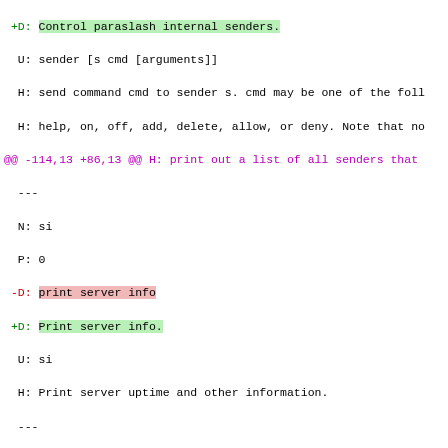Diff/patch content showing code changes with hunk headers and added/removed lines for paraslash sender and server command descriptions.